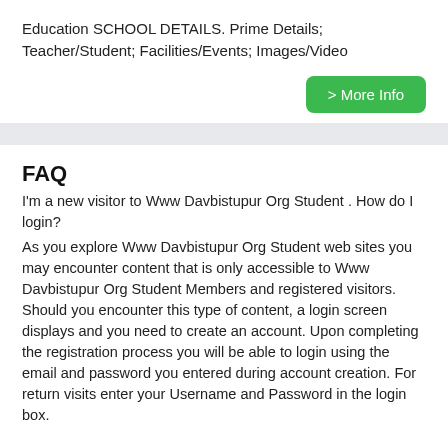Education SCHOOL DETAILS. Prime Details; Teacher/Student; Facilities/Events; Images/Video
[Figure (other): Green button labeled '> More Info']
FAQ
I'm a new visitor to Www Davbistupur Org Student . How do I login?
As you explore Www Davbistupur Org Student web sites you may encounter content that is only accessible to Www Davbistupur Org Student Members and registered visitors. Should you encounter this type of content, a login screen displays and you need to create an account. Upon completing the registration process you will be able to login using the email and password you entered during account creation. For return visits enter your Username and Password in the login box.